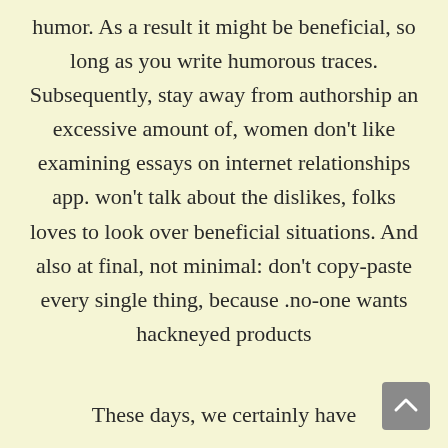humor. As a result it might be beneficial, so long as you write humorous traces. Subsequently, stay away from authorship an excessive amount of, women don't like examining essays on internet relationships app. won't talk about the dislikes, folks loves to look over beneficial situations. And also at final, not minimal: don't copy-paste every single thing, because .no-one wants hackneyed products
These days, we certainly have